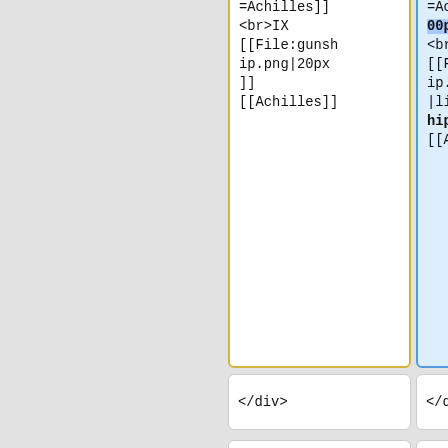c5.png|link=Achilles]]
<br>IX
[[File:gunship.png|20px]]
[[Achilles]]
c5.png|link=Achilles|100px]]
<br>IX
[[File:gunship.png|20px|link=Gunship]]
[[Achilles]]
</div>
</div>
<div style="margin: 5px 25px 10px 5px; display: inline-block; vertical-align: top; text-align: center;">
<div style="margin: 5px 25px 10px 5px; display: inline-block; vertical-align: top; text-align: center;">
[[File:Prometheus X.png|link=
[[File:Prometheus X.png|link=